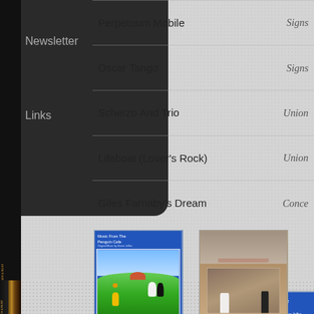Newsletter
Links
| Track | Album |
| --- | --- |
| Perpetuum Mobile | Signs |
| Oscar Tango | Signs |
| Scherzo And Trio | Union |
| Lifeboat (Lover's Rock) | Union |
| Giles Farnaby's Dream | Conce |
[Figure (photo): Blue album cover: Music From The Penguin Cafe, featuring illustrated penguins and a person with umbrella on green hillside]
[Figure (photo): Tan/brown album cover featuring two figures - a white-robed figure and a dark figure - standing in a doorway]
[Figure (logo): Spotify logo on black background with green circle icon]